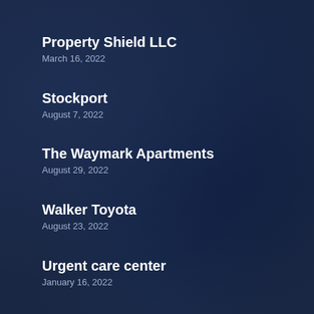Property Shield LLC
March 16, 2022
Stockport
August 7, 2022
The Waymark Apartments
August 29, 2022
Walker Toyota
August 23, 2022
Urgent care center
January 16, 2022